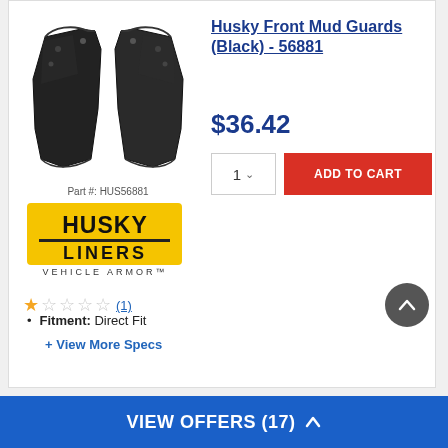[Figure (photo): Two black rubber/plastic mud flap guards for front of vehicle, shown as a pair]
Part #: HUS56881
[Figure (logo): Husky Liners Vehicle Armor logo — yellow rectangle with HUSKY LINERS text and VEHICLE ARMOR subtitle]
★☆☆☆☆ (1)
Husky Front Mud Guards (Black) - 56881
$36.42
1  ADD TO CART
Fitment: Direct Fit
+ View More Specs
VIEW OFFERS (17) ^